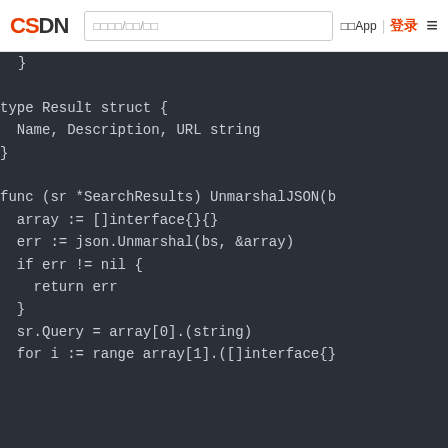CSDN  □□□□/□□/□□  □□App | 登录 ≡
}

type Result struct {
  Name, Description, URL string
}

func (sr *SearchResults) UnmarshalJSON(b
  array := []interface{}{}
  err := json.Unmarshal(bs, &array)
  if err != nil {
    return err
  }
  sr.Query = array[0].(string)
  for i := range array[1].([]interface{}